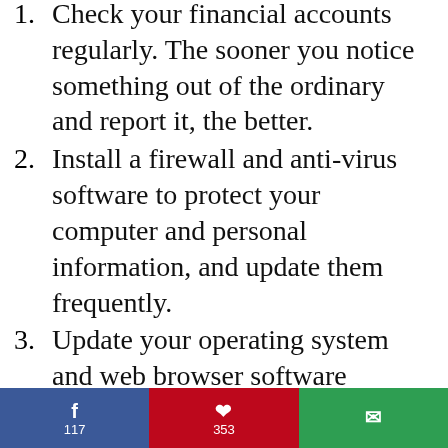1. Check your financial accounts regularly. The sooner you notice something out of the ordinary and report it, the better.
2. Install a firewall and anti-virus software to protect your computer and personal information, and update them frequently.
3. Update your operating system and web browser software regularly.
4. Secure your wireless home network (Wi-Fi) by enabling encryption.
5. Be wary of emails that urgently